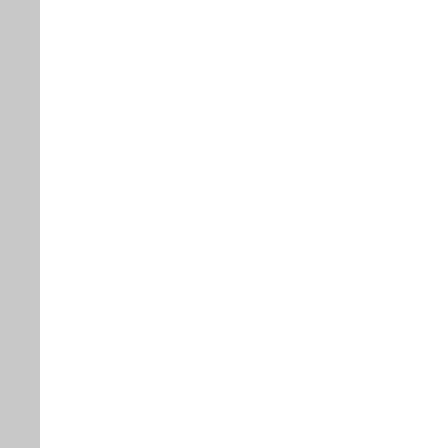| Window repairing Delhi | Window Air conditioner service Delhi (truncated) |
| Cube Air conditioner repairs Delhi | Air conditioner service repair centre Delhi (truncated) |
| window Air conditioner service centre Delhi | split/do Air conditioner service centre Delhi (truncated) |